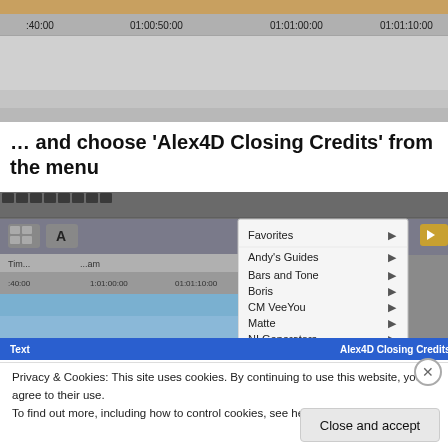[Figure (screenshot): Final Cut Pro timeline screenshot showing timecodes 01:00:50:00, 01:01:00:00, 01:01:10:00 with orange bar at top]
… and choose 'Alex4D Closing Credits' from the menu
[Figure (screenshot): Final Cut Pro interface screenshot showing a dropdown menu open with items: Favorites, Andy's Guides, Bars and Tone, Boris, CM VeeYou, Matte, NI Generators, Render, Shapes, Slug, Text (highlighted in blue) with Alex4D Closing Credits shown at right]
Privacy & Cookies: This site uses cookies. By continuing to use this website, you agree to their use.
To find out more, including how to control cookies, see here: Cookie Policy
Close and accept